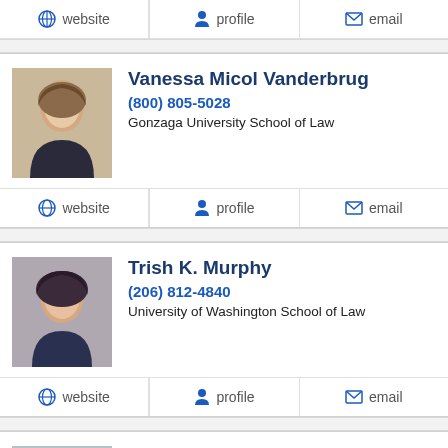website | profile | email (top partial action bar)
Vanessa Micol Vanderbrug
(800) 805-5028
Gonzaga University School of Law
website | profile | email
Trish K. Murphy
(206) 812-4840
University of Washington School of Law
website | profile | email
Jason Epstein
(800) 852-0060 (partial)